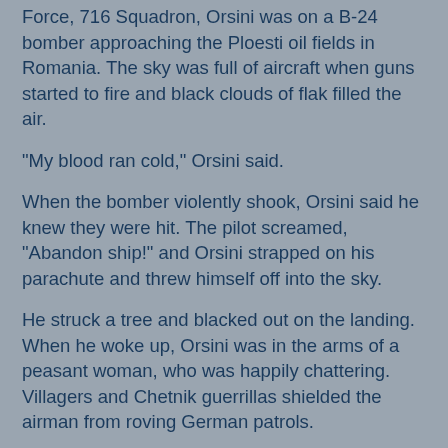Force, 716 Squadron, Orsini was on a B-24 bomber approaching the Ploesti oil fields in Romania. The sky was full of aircraft when guns started to fire and black clouds of flak filled the air.
"My blood ran cold," Orsini said.
When the bomber violently shook, Orsini said he knew they were hit. The pilot screamed, "Abandon ship!" and Orsini strapped on his parachute and threw himself off into the sky.
He struck a tree and blacked out on the landing. When he woke up, Orsini was in the arms of a peasant woman, who was happily chattering. Villagers and Chetnik guerrillas shielded the airman from roving German patrols.
Gen. Draza Mihailovich, a Chetnik guerrilla leader and Serb nationalist, immediately started coordinating a rescue plan with the Office of Strategic Services or OSS, a forerunner to the Central Intelligence Agency. His people brought the airmen to the small village of Pranjane where they transformed a farm field into a makeshift airfield.